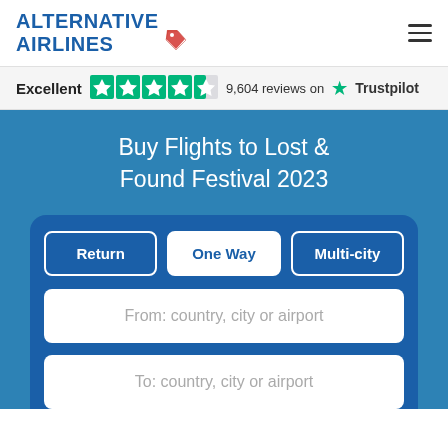[Figure (logo): Alternative Airlines logo with red price tag icon]
Excellent  9,604 reviews on Trustpilot
Buy Flights to Lost & Found Festival 2023
Return | One Way | Multi-city
From: country, city or airport
To: country, city or airport